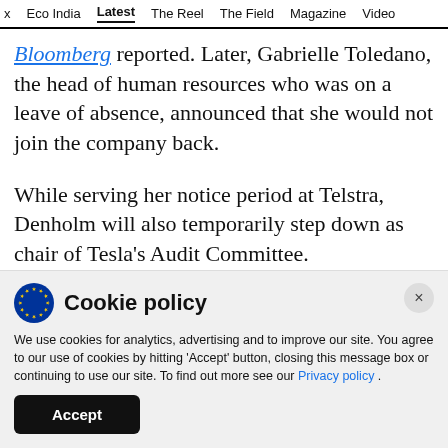x  Eco India  Latest  The Reel  The Field  Magazine  Video
Bloomberg reported. Later, Gabrielle Toledano, the head of human resources who was on a leave of absence, announced that she would not join the company back.
While serving her notice period at Telstra, Denholm will also temporarily step down as chair of Tesla's Audit Committee.
Cookie policy
We use cookies for analytics, advertising and to improve our site. You agree to our use of cookies by hitting 'Accept' button, closing this message box or continuing to use our site. To find out more see our Privacy policy .
Accept